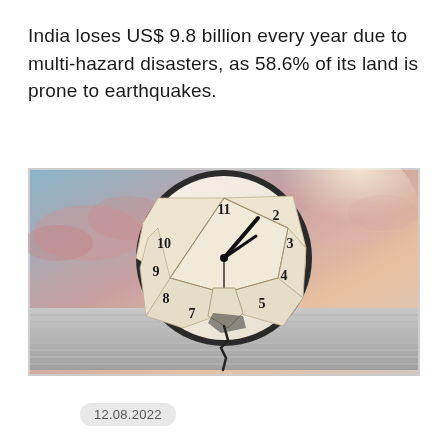India loses US$ 9.8 billion every year due to multi-hazard disasters, as 58.6% of its land is prone to earthquakes.
[Figure (photo): A broken clock face shattered apart, with pieces falling against a dramatic sky with pink clouds and a reflective floor surface. The clock shows large numerals including 2, 3, 4, 5, 6, 7, 8, 9, 10, 11 visible among broken fragments. Clock hands are visible. A dark crack runs from the bottom of the image.]
12.08.2022